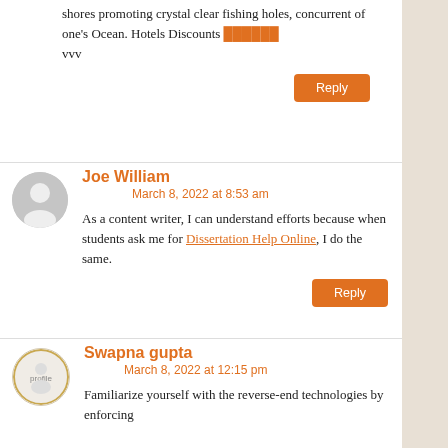shores promoting crystal clear fishing holes, concurrent of one's Ocean. Hotels Discounts ██████ vvv
Reply
Joe William
March 8, 2022 at 8:53 am
As a content writer, I can understand efforts because when students ask me for Dissertation Help Online, I do the same.
Reply
Swapna gupta
March 8, 2022 at 12:15 pm
Familiarize yourself with the reverse-end technologies by enforcing